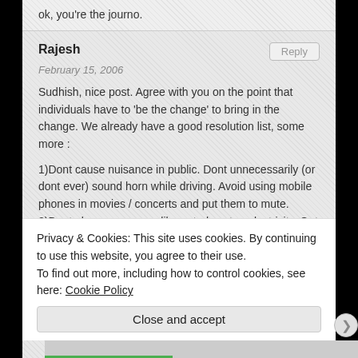ok, you're the journo.
Rajesh
February 15, 2006
Sudhish, nice post. Agree with you on the point that individuals have to 'be the change' to bring in the change. We already have a good resolution list, some more :
1)Dont cause nuisance in public. Dont unnecessarily (or dont ever) sound horn while driving. Avoid using mobile phones in movies / concerts and put them to mute.
2)Dont abuse resources like petrol, water, electricity. Get the meaning of abuse right here.
Privacy & Cookies: This site uses cookies. By continuing to use this website, you agree to their use.
To find out more, including how to control cookies, see here: Cookie Policy
Close and accept